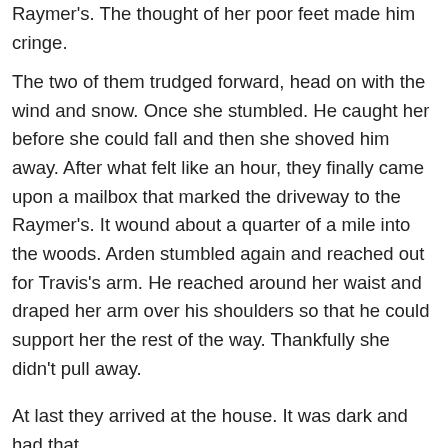Raymer's. The thought of her poor feet made him cringe.
The two of them trudged forward, head on with the wind and snow. Once she stumbled. He caught her before she could fall and then she shoved him away. After what felt like an hour, they finally came upon a mailbox that marked the driveway to the Raymer's. It wound about a quarter of a mile into the woods. Arden stumbled again and reached out for Travis's arm. He reached around her waist and draped her arm over his shoulders so that he could support her the rest of the way. Thankfully she didn't pull away.
At last they arrived at the house. It was dark and had that